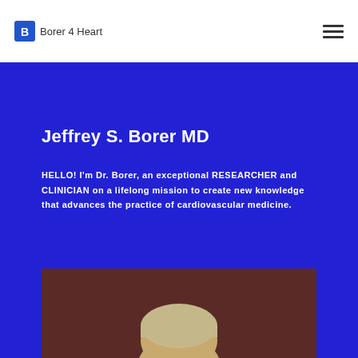Borer 4 Heart
Jeffrey S. Borer MD
HELLO! I'm Dr. Borer, an exceptional RESEARCHER and CLINICIAN on a lifelong mission to create new knowledge that advances the practice of cardiovascular medicine.
[Figure (photo): Partial photo of Dr. Jeffrey S. Borer, showing top of head with blonde/grey hair against a dark reddish-brown background.]